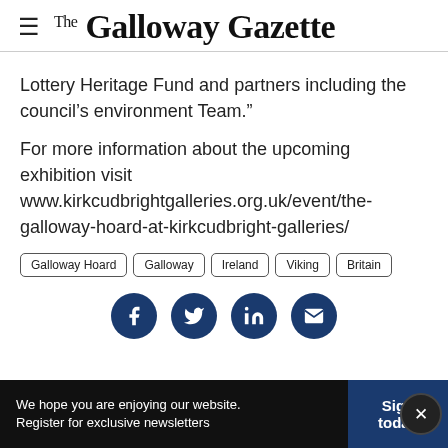The Galloway Gazette
Lottery Heritage Fund and partners including the council’s environment Team.”
For more information about the upcoming exhibition visit www.kirkcudbrightgalleries.org.uk/event/the-galloway-hoard-at-kirkcudbright-galleries/
Galloway Hoard
Galloway
Ireland
Viking
Britain
[Figure (infographic): Row of social media sharing icons (Facebook, Twitter, LinkedIn, Email) as dark blue circles]
We hope you are enjoying our website. Register for exclusive newsletters | Sign today